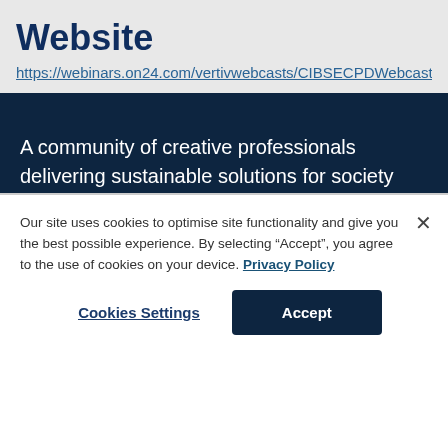Website
https://webinars.on24.com/vertivwebcasts/CIBSECPDWebcast
A community of creative professionals delivering sustainable solutions for society
Our site uses cookies to optimise site functionality and give you the best possible experience. By selecting “Accept”, you agree to the use of cookies on your device. Privacy Policy
Cookies Settings
Accept